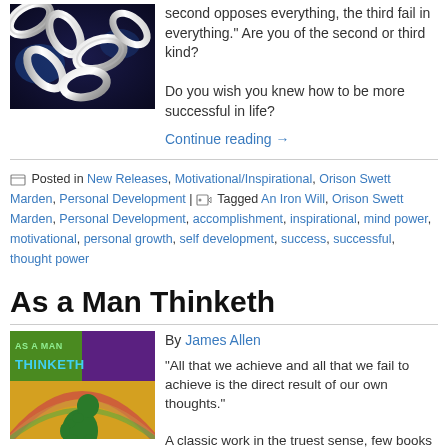[Figure (photo): Close-up photo of silver metal chain links against a dark blue/black background]
second opposes everything, the third fail in everything." Are you of the second or third kind? Do you wish you knew how to be more successful in life?
Continue reading →
Posted in New Releases, Motivational/Inspirational, Orison Swett Marden, Personal Development | Tagged An Iron Will, Orison Swett Marden, Personal Development, accomplishment, inspirational, mind power, motivational, personal growth, self development, success, successful, thought power
As a Man Thinketh
[Figure (photo): Book cover for 'As a Man Thinketh' showing colorful background with a green thinker statue figure]
By James Allen
"All that we achieve and all that we fail to achieve is the direct result of our own thoughts." A classic work in the truest sense, few books have been so widely read as "As a Man Thinketh", have stood the test of time as well, and have...